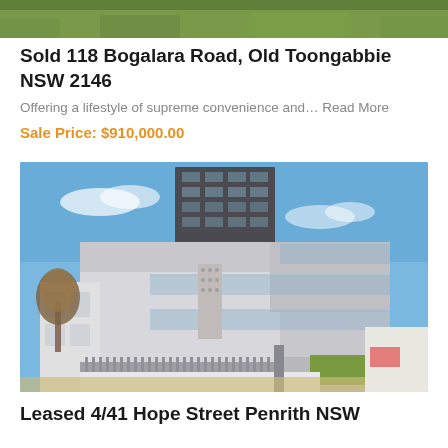[Figure (photo): Top portion of a property listing photo showing green grass/garden area, cropped at top of page]
Sold 118 Bogalara Road, Old Toongabbie NSW 2146
Offering a lifestyle of supreme convenience and… Read More
Sale Price: $910,000.00
[Figure (photo): Exterior photo of a modern multi-storey apartment building with grey render, glass balcony railings, against a blue sky. Gate and fence visible at street level.]
Leased 4/41 Hope Street Penrith NSW